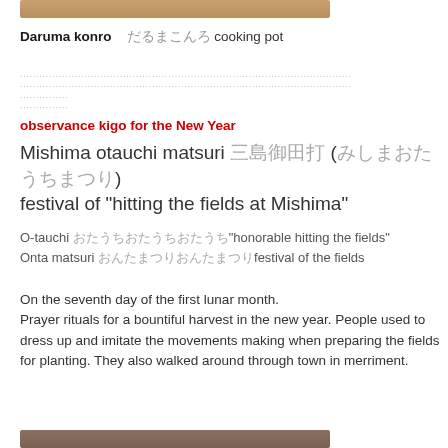[Figure (photo): Top partial image strip, brown toned photo]
Daruma konro　だるまこんろ cooking pot
...............................................................................................................
...............
...............
observance kigo for the New Year
Mishima otauchi matsuri 三島御田打 (みしまおたうちまつり) festival of "hitting the fields at Mishima"
O-tauchi おたうちおたうちおたうち"honorable hitting the fields"
Onta matsuri おんたまつりおんたまつりfestival of the fields
On the seventh day of the first lunar month.
Prayer rituals for a bountiful harvest in the new year. People used to dress up and imitate the movements making when preparing the fields for planting. They also walked around through town in merriment.
[Figure (photo): Bottom partial image strip, dark brown toned photo]